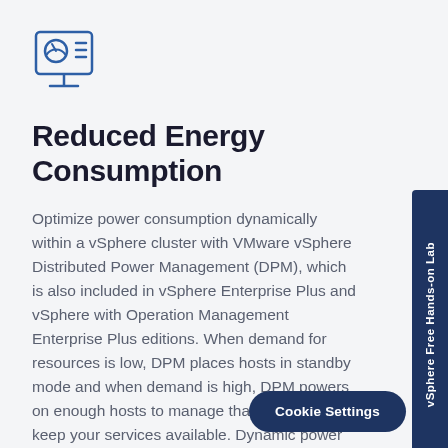[Figure (illustration): Monitor/screen icon with a gauge and list lines, drawn in blue outline style]
Reduced Energy Consumption
Optimize power consumption dynamically within a vSphere cluster with VMware vSphere Distributed Power Management (DPM), which is also included in vSphere Enterprise Plus and vSphere with Operation Management Enterprise Plus editions. When demand for resources is low, DPM places hosts in standby mode and when demand is high, DPM powers on enough hosts to manage that demand and keep your services available. Dynamic power management with DPM allows you to:
vSphere Free Hands-on Lab
Cookie Settings